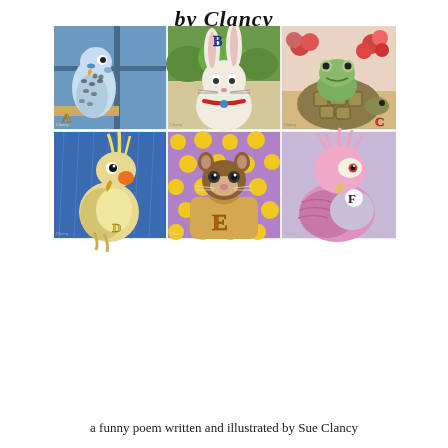by Clancy
[Figure (illustration): 3x2 grid of six painted animal illustrations labeled A through F. A: blue and white budgie parakeet. B: white rabbit with red collar. C: green frog on tortoise with flowers. D: yellow crested cockatiel. E: ferret wearing shirt with E. F: pink galah cockatoo.]
a funny poem written and illustrated by Sue Clancy